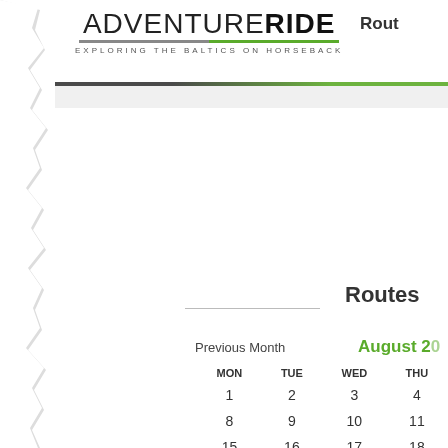ADVENTURERIDE — EXPLORING THE BALTICS ON HORSEBACK
Routes
Previous Month
August 2
| MON | TUE | WED | THU |
| --- | --- | --- | --- |
| 1 | 2 | 3 | 4 |
| 8 | 9 | 10 | 11 |
| 15 | 16 | 17 | 18 |
| 22 | 23 | 24 | 25 |
| 29 | 30 | 31 |  |
|  |  |  |  |